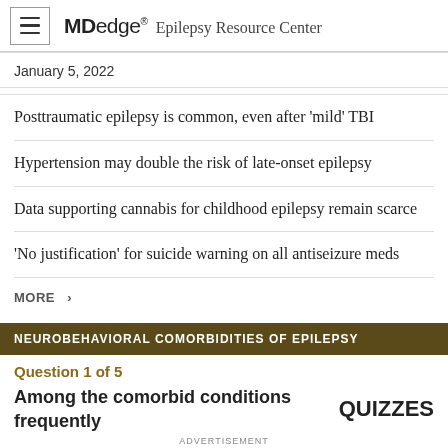MDedge Epilepsy Resource Center
January 5, 2022
Posttraumatic epilepsy is common, even after 'mild' TBI
Hypertension may double the risk of late-onset epilepsy
Data supporting cannabis for childhood epilepsy remain scarce
'No justification' for suicide warning on all antiseizure meds
MORE >
NEUROBEHAVIORAL COMORBIDITIES OF EPILEPSY
Question 1 of 5
Among the comorbid conditions frequently     QUIZZES